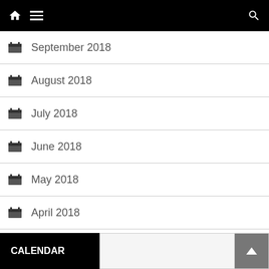Navigation bar with home, menu, and search icons
September 2018
August 2018
July 2018
June 2018
May 2018
April 2018
March 2018
February 2018
January 2018
CALENDAR